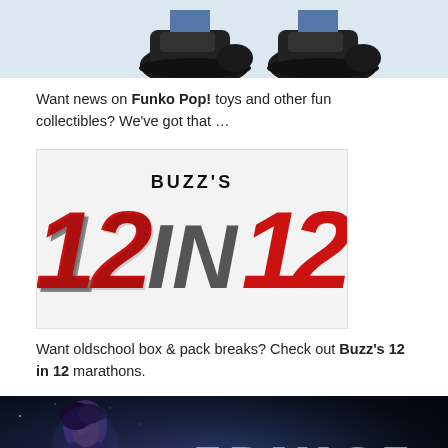[Figure (photo): Partial image of shoes/sneakers on light blue background, cropped at top]
Want news on Funko Pop! toys and other fun collectibles? We've got that …
[Figure (illustration): Buzz's 12 in 12 logo with large red italic numbers '12' on each side and gray 'IN' in the middle, with 'Buzz's' text above]
Want oldschool box & pack breaks? Check out Buzz's 12 in 12 marathons.
[Figure (photo): Fringe TV show promotional image with woman on left side and FRINGE logo text on right with tagline 'IMAGINE THE IMPOSSIBILITIES']